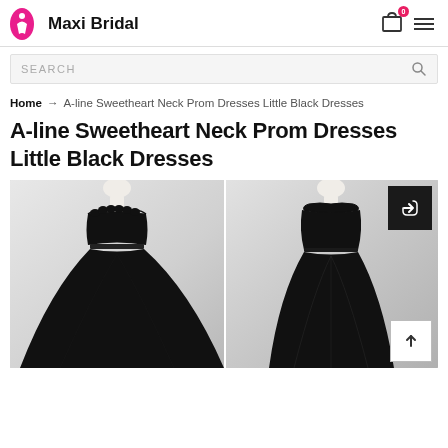Maxi Bridal
SEARCH
Home → A-line Sweetheart Neck Prom Dresses Little Black Dresses
A-line Sweetheart Neck Prom Dresses Little Black Dresses
[Figure (photo): Two black dresses on mannequins: left shows a strapless A-line ball gown with ruffled sweetheart neckline and full skirt; right shows a sleeveless scoop-neck cocktail dress with tulle skirt. Share and scroll-to-top buttons overlay the right image.]